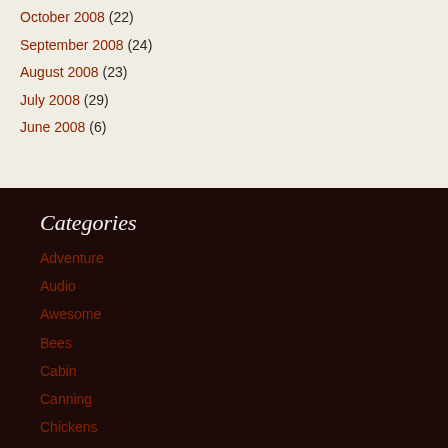October 2008 (22)
September 2008 (24)
August 2008 (23)
July 2008 (29)
June 2008 (6)
Categories
Adventure
Audio
Awesome
Bees
Cabin
Canning
Chickens